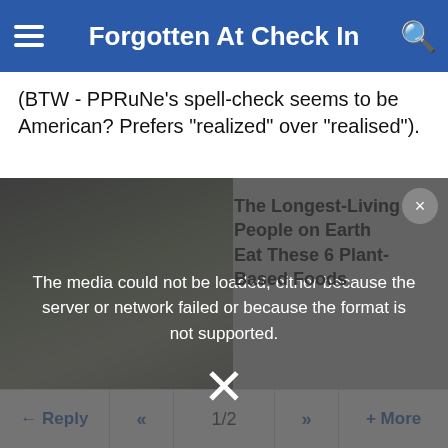Forgotten At Check In
(BTW - PPRuNe's spell-check seems to be American? Prefers "realized" over "realised").
[Figure (screenshot): Video/media player showing error overlay: 'The media could not be loaded, either because the server or network failed or because the format is not supported.' with an X dismiss button. Background shows partial photo of elderly woman. Ad overlay on right reads 'The Longest-Living People on Earth Eat These 6 Plant-Based Foods' with a close button.]
Reply  <<  1/2  >>  + More